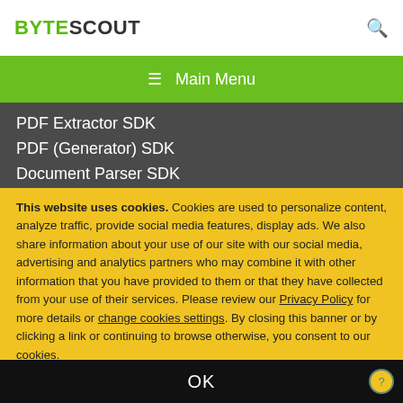BYTESCOUT
≡  Main Menu
PDF Extractor SDK
PDF (Generator) SDK
Document Parser SDK
This website uses cookies. Cookies are used to personalize content, analyze traffic, provide social media features, display ads. We also share information about your use of our site with our social media, advertising and analytics partners who may combine it with other information that you have provided to them or that they have collected from your use of their services. Please review our Privacy Policy for more details or change cookies settings. By closing this banner or by clicking a link or continuing to browse otherwise, you consent to our cookies.
OK